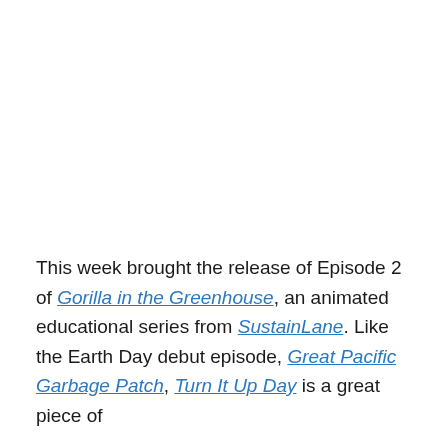This week brought the release of Episode 2 of Gorilla in the Greenhouse, an animated educational series from SustainLane. Like the Earth Day debut episode, Great Pacific Garbage Patch, Turn It Up Day is a great piece of